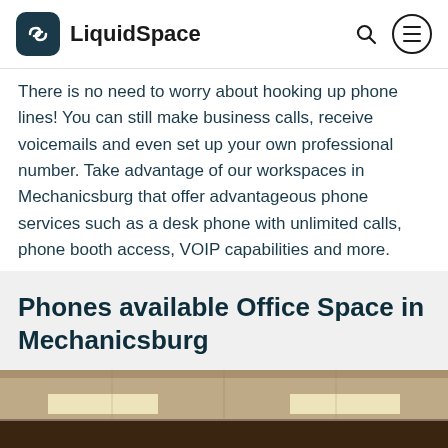LiquidSpace
There is no need to worry about hooking up phone lines! You can still make business calls, receive voicemails and even set up your own professional number. Take advantage of our workspaces in Mechanicsburg that offer advantageous phone services such as a desk phone with unlimited calls, phone booth access, VOIP capabilities and more.
Phones available Office Space in Mechanicsburg
[Figure (photo): Interior photo of an office space showing a ceiling with recessed panel lighting and warm brown tones, taken from below looking up slightly.]